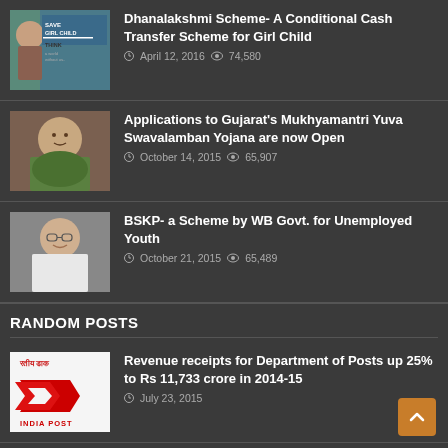[Figure (photo): Girl child save campaign image with text SAVE GIRL CHILD and THINK, a world without us]
Dhanalakshmi Scheme- A Conditional Cash Transfer Scheme for Girl Child
April 12, 2016  74,580
[Figure (photo): Photo of older Indian woman smiling]
Applications to Gujarat's Mukhyamantri Yuva Swavalamban Yojana are now Open
October 14, 2015  65,907
[Figure (photo): Photo of Indian woman politician]
BSKP- a Scheme by WB Govt. for Unemployed Youth
October 21, 2015  65,489
RANDOM POSTS
[Figure (logo): India Post logo with red chevron design and Hindi text रतीय डाक]
Revenue receipts for Department of Posts up 25% to Rs 11,733 crore in 2014-15
July 23, 2015
[Figure (photo): PM Rural Development Fellows Scheme banner with Modi image]
Prime Minister's Rural Development Fellows Scheme
October 18, 2016